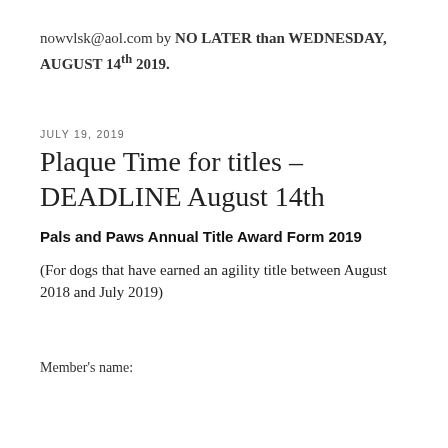nowvlsk@aol.com by NO LATER than WEDNESDAY, AUGUST 14th 2019.
JULY 19, 2019
Plaque Time for titles – DEADLINE August 14th
Pals and Paws Annual Title Award Form 2019
(For dogs that have earned an agility title between August 2018 and July 2019)
Member's name: